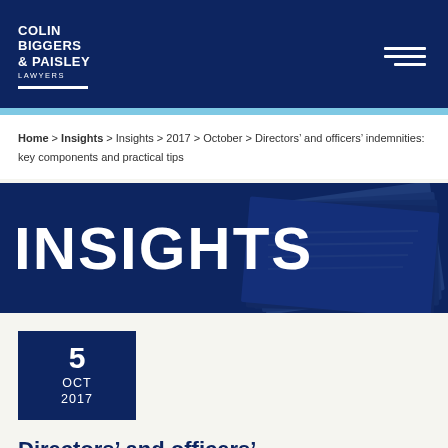COLIN BIGGERS & PAISLEY LAWYERS
Home > Insights > Insights > 2017 > October > Directors' and officers' indemnities: key components and practical tips
[Figure (illustration): INSIGHTS banner with dark navy background and stacked papers photograph overlay on right side]
5 OCT 2017
Directors' and officers' indemnities: key components